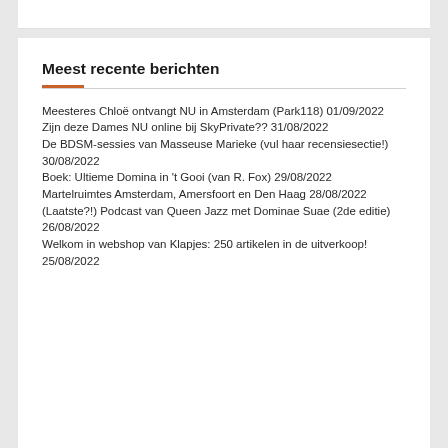Meest recente berichten
Meesteres Chloë ontvangt NU in Amsterdam (Park118) 01/09/2022
Zijn deze Dames NU online bij SkyPrivate?? 31/08/2022
De BDSM-sessies van Masseuse Marieke (vul haar recensiesectie!) 30/08/2022
Boek: Ultieme Domina in 't Gooi (van R. Fox) 29/08/2022
Martelruimtes Amsterdam, Amersfoort en Den Haag 28/08/2022
(Laatste?!) Podcast van Queen Jazz met Dominae Suae (2de editie) 26/08/2022
Welkom in webshop van Klapjes: 250 artikelen in de uitverkoop! 25/08/2022